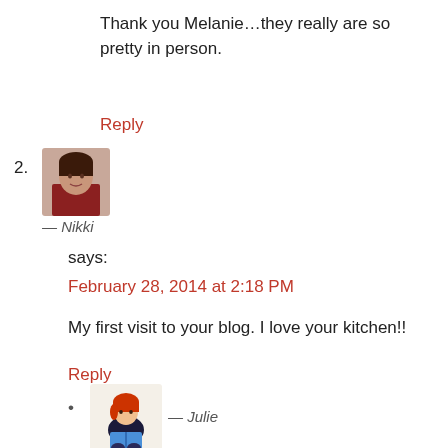Thank you Melanie…they really are so pretty in person.
Reply
2. Nikki — says: February 28, 2014 at 2:18 PM — My first visit to your blog. I love your kitchen!!
Reply
• Julie — says: February 28, 2014 at 6:19 PM — Thanks Nikki!